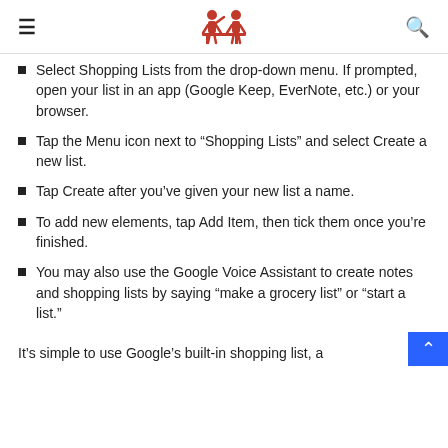[hamburger menu icon] [logo] [search icon]
Select Shopping Lists from the drop-down menu. If prompted, open your list in an app (Google Keep, EverNote, etc.) or your browser.
Tap the Menu icon next to “Shopping Lists” and select Create a new list.
Tap Create after you’ve given your new list a name.
To add new elements, tap Add Item, then tick them once you’re finished.
You may also use the Google Voice Assistant to create notes and shopping lists by saying “make a grocery list” or “start a list.”
It’s simple to use Google’s built-in shopping list, a